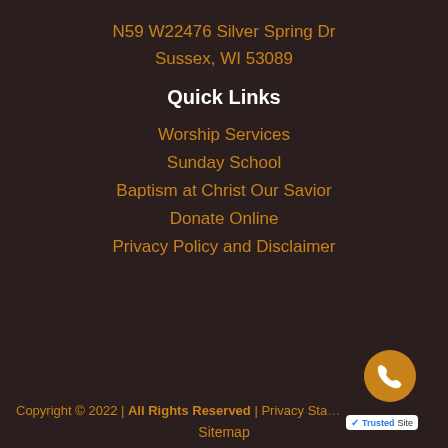N59 W22476 Silver Spring Dr
Sussex, WI 53089
Quick Links
Worship Services
Sunday School
Baptism at Christ Our Savior
Donate Online
Privacy Policy and Disclaimer
Copyright © 2022 | All Rights Reserved | Privacy Sta... Sitemap
[Figure (logo): TrustedSite badge with checkmark logo and phone call button (circular gold button with phone icon)]